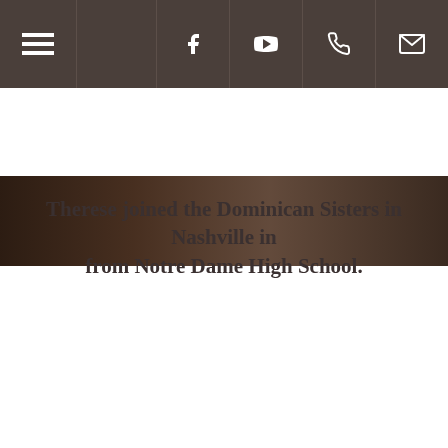Navigation bar with hamburger menu, Facebook, YouTube, phone, and email icons
[Figure (photo): Top portion of a photograph, partially cropped, showing an indoor scene with dark wooden furniture and objects in the background.]
Therese joined the Dominican Sisters in Nashville in from Notre Dame High School.
[Figure (photo): Vintage sepia-toned photograph showing a figure in a Dominican religious habit (white and black) holding what appears to be a staff or cross, with trees visible on the right side of the image.]